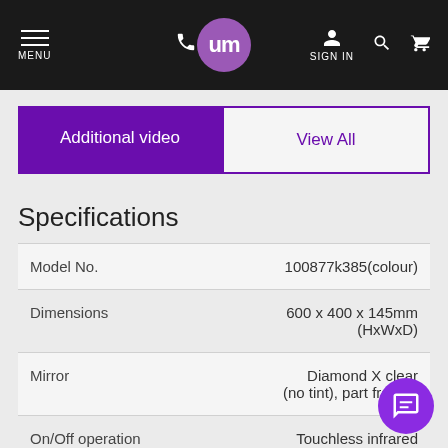MENU | phone | um logo | SIGN IN | search | cart
Additional video
View All
Specifications
|  |  |
| --- | --- |
| Model No. | 100877k385(colour) |
| Dimensions | 600 x 400 x 145mm (HxWxD) |
| Mirror | Diamond X clear (no tint), part frosted |
| On/Off operation | Touchless infrared |
| Light source | LED strip |